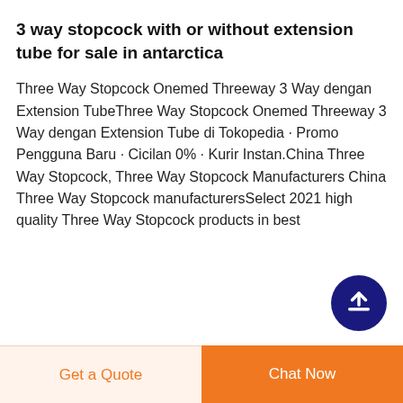3 way stopcock with or without extension tube for sale in antarctica
Three Way Stopcock Onemed Threeway 3 Way dengan Extension TubeThree Way Stopcock Onemed Threeway 3 Way dengan Extension Tube di Tokopedia · Promo Pengguna Baru · Cicilan 0% · Kurir Instan.China Three Way Stopcock, Three Way Stopcock Manufacturers China Three Way Stopcock manufacturersSelect 2021 high quality Three Way Stopcock products in best
[Figure (other): Dark navy blue circular scroll-to-top button with white upward arrow icon]
Get a Quote
Chat Now